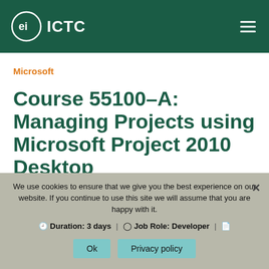ICTC
Microsoft
Course 55100-A: Managing Projects using Microsoft Project 2010 Desktop
Duration: 3 days | Job Role: Developer
We use cookies to ensure that we give you the best experience on our website. If you continue to use this site we will assume that you are happy with it.
Ok
Privacy policy